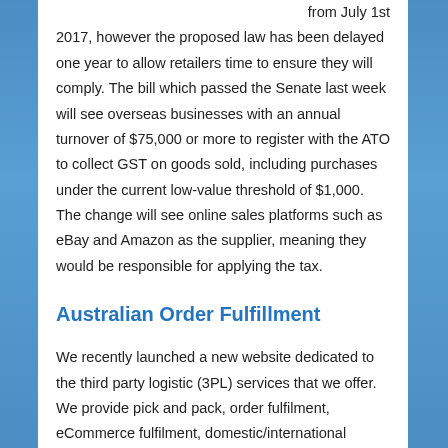from July 1st 2017, however the proposed law has been delayed one year to allow retailers time to ensure they will comply. The bill which passed the Senate last week will see overseas businesses with an annual turnover of $75,000 or more to register with the ATO to collect GST on goods sold, including purchases under the current low-value threshold of $1,000. The change will see online sales platforms such as eBay and Amazon as the supplier, meaning they would be responsible for applying the tax.
Australian Order Fulfillment
We recently launched a new website dedicated to the third party logistic (3PL) services that we offer.  We provide pick and pack, order fulfilment, eCommerce fulfilment, domestic/international distribution and inventory management. The benefit of outsourcing